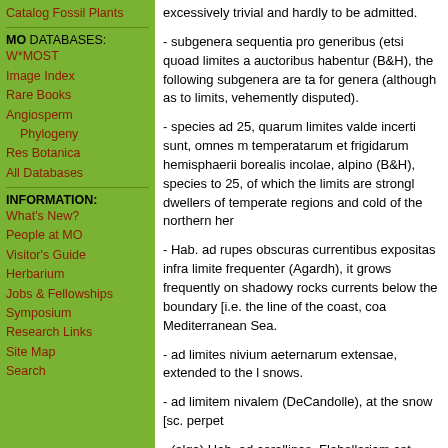Catalog Fossil Plants
MO DATABASES: W*MOST Image Index Rare Books Angiosperm Phylogeny Res Botanica All Databases
INFORMATION: What's New? People at MO Visitor's Guide Herbarium Jobs & Fellowships Symposium Research Links Site Map Search
excessively trivial and hardly to be admitted.
- subgenera sequentia pro generibus (etsi quoad limites a auctoribus habentur (B&H), the following subgenera are ta for genera (although as to limits, vehemently disputed).
- species ad 25, quarum limites valde incerti sunt, omnes m temperatarum et frigidarum hemisphaerii borealis incolae, alpino (B&H), species to 25, of which the limits are strongl dwellers of temperate regions and cold of the northern her
- Hab. ad rupes obscuras currentibus expositas infra limite frequenter (Agardh), it grows frequently on shadowy rocks currents below the boundary [i.e. the line of the coast, coa Mediterranean Sea.
- ad limites nivium aeternarum extensae, extended to the l snows.
- ad limitem nivalem (DeCandolle), at the snow [sc. perpet
- (alga) Hab. ad corallinas, Flabellariam cet. parasitans, in tranquillissimis infra limitem maris; in portu Yillse Francae, (Agardh), it grows parasitic on coralline [sc. algae], Flabell tranquile bays within the limit of the sea.
- species ad 6, in uliginosis montium altiorum Andium Ame vigentes, usque ad limites nivium aeternarum extensae (B the wet places of the higher mountains of the Andes of So flourishing, extended up to the limits of perpetual snows.
- limites vegetationis phaenogamici in regionibus polaribus